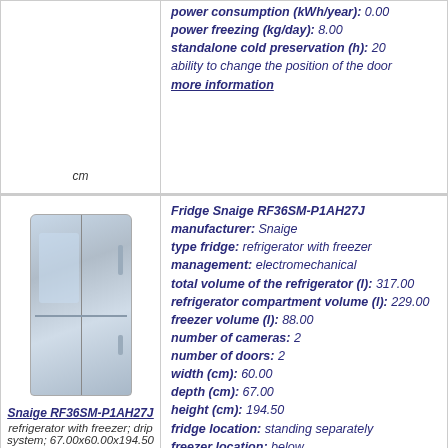cm
power consumption (kWh/year): 0.00
power freezing (kg/day): 8.00
standalone cold preservation (h): 20
ability to change the position of the door
more information
[Figure (photo): Photo of Snaige RF36SM-P1AH27J refrigerator with freezer, silver/grey color, doors open showing interior]
Snaige RF36SM-P1AH27J
refrigerator with freezer; drip system; 67.00x60.00x194.50 cm
Fridge Snaige RF36SM-P1AH27J
manufacturer: Snaige
type fridge: refrigerator with freezer
management: electromechanical
total volume of the refrigerator (l): 317.00
refrigerator compartment volume (l): 229.00
freezer volume (l): 88.00
number of cameras: 2
number of doors: 2
width (cm): 60.00
depth (cm): 67.00
height (cm): 194.50
fridge location: standing separately
freezer location: below
way to defrost a refrigerator: drip system
way to defrost freezer: manual
number of compressors: 1
noise level (dB): 41
additional options: super freezing
energy class: class a
power consumption (kWh/year): 0.00
power freezing (kg/day): 8.00
standalone cold preservation (h): 20
ability to change the position of the door
more information